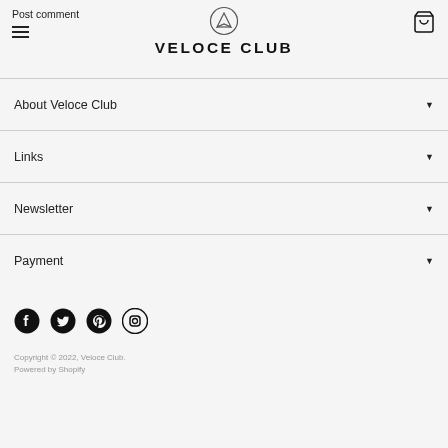Post comment
[Figure (logo): Veloce Club logo with V inside a circle and VELOCE CLUB text]
About Veloce Club
Links
Newsletter
Payment
[Figure (illustration): Social media icons: Facebook, Twitter, Pinterest, Instagram]
Copyright © 2022, Veloce Club.
Powered by Shopify